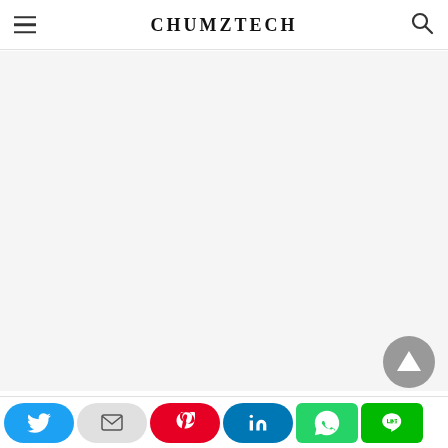CHUMZTECH
[Figure (screenshot): Empty white/light gray content area below the header]
[Figure (infographic): Social share bar with Twitter, Email, Pinterest, LinkedIn, WhatsApp, and LINE buttons at the bottom of the page]